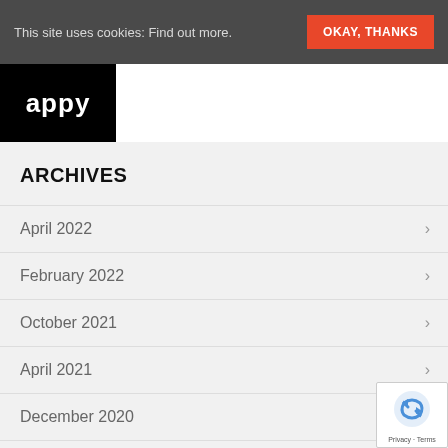This site uses cookies: Find out more.  OKAY, THANKS
[Figure (logo): appy logo in white text on black background]
ARCHIVES
April 2022
February 2022
October 2021
April 2021
December 2020
November 2020